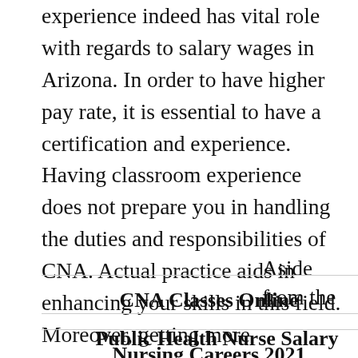experience indeed has vital role with regards to salary wages in Arizona. In order to have higher pay rate, it is essential to have a certification and experience. Having classroom experience does not prepare you in handling the duties and responsibilities of CNA. Actual practice aids in enhancing your skills in this field. Moreover, getting more experience is a key factor in obtaining higher salary wage.
Aside from the
CNA Classes Online ›
Public Health Nurse Salary ›
Nursing Careers 2021 ›